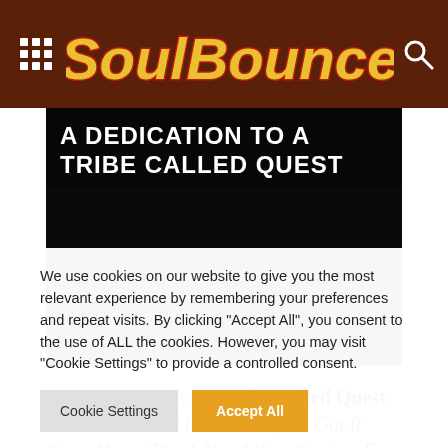SoulBounce
[Figure (photo): Dark hero image with white bold text overlay reading 'A DEDICATION TO A TRIBE CALLED QUEST' on a dark/black background]
In a matter of days, A Tribe Called Quest will release their final album, We Got It From Here...Thank You 4 Your Service. Fans of ATCQ
We use cookies on our website to give you the most relevant experience by remembering your preferences and repeat visits. By clicking "Accept All", you consent to the use of ALL the cookies. However, you may visit "Cookie Settings" to provide a controlled consent.